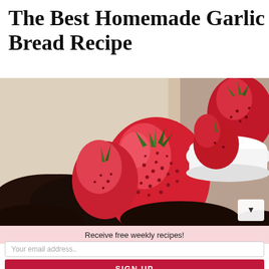The Best Homemade Garlic Bread Recipe
[Figure (photo): Close-up photo of a strawberry resting on dark chocolate crumble/cake, with a bowl of strawberries visible in the background on a light fabric surface.]
Receive free weekly recipes!
Your email address..
SIGN UP